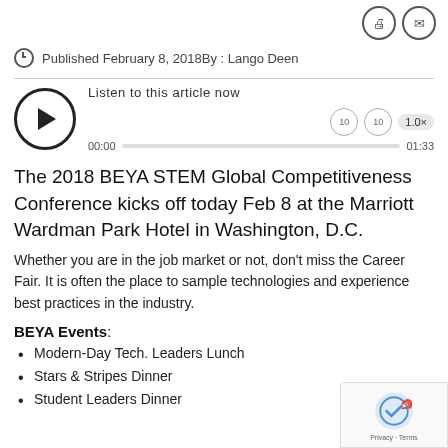Published February 8, 2018 By : Lango Deen
[Figure (other): Audio player widget with play button, progress bar showing 00:00 / 01:33, and Listen to this article now label]
The 2018 BEYA STEM Global Competitiveness Conference kicks off today Feb 8 at the Marriott Wardman Park Hotel in Washington, D.C.
Whether you are in the job market or not, don’t miss the Career Fair. It is often the place to sample technologies and experience best practices in the industry.
BEYA Events:
Modern-Day Tech. Leaders Lunch
Stars & Stripes Dinner
Student Leaders Dinner